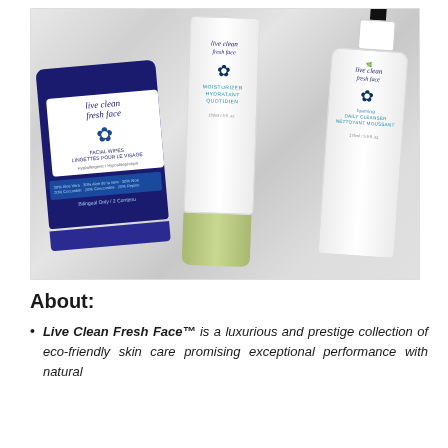[Figure (photo): Three Live Clean Fresh Face skincare products on a marble surface: a blue packet of facial wipes on the left, a white moisturizer tube in the center, and a white daily cleanser bottle on the right.]
About:
Live Clean Fresh Face™ is a luxurious and prestige collection of eco-friendly skin care promising exceptional performance with natural